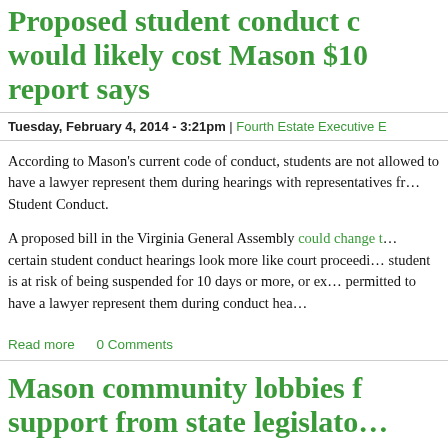Proposed student conduct changes would likely cost Mason $10, report says
Tuesday, February 4, 2014 - 3:21pm | Fourth Estate Executive E
According to Mason's current code of conduct, students are not allowed to have a lawyer represent them during hearings with representatives from the Office of Student Conduct.
A proposed bill in the Virginia General Assembly could change that, making certain student conduct hearings look more like court proceedings. If a student is at risk of being suspended for 10 days or more, or expelled, they would be permitted to have a lawyer represent them during conduct hearings.
Read more   0 Comments
Mason community lobbies for support from state legislators